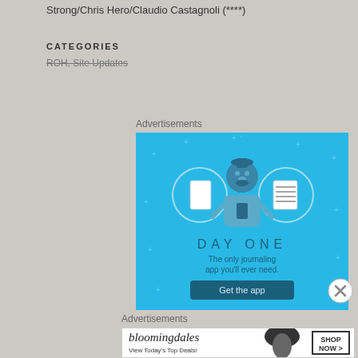Strong/Chris Hero/Claudio Castagnoli (****)
CATEGORIES
ROH, Site Updates
Advertisements
[Figure (illustration): Day One journaling app advertisement with blue background showing a person holding a phone, surrounded by notebook icons, text reads DAY ONE - The only journaling app you'll ever need. Get the app]
Advertisements
[Figure (illustration): Bloomingdale's advertisement showing a woman in a wide brim hat with text: bloomingdales, View Today's Top Deals! SHOP NOW >]